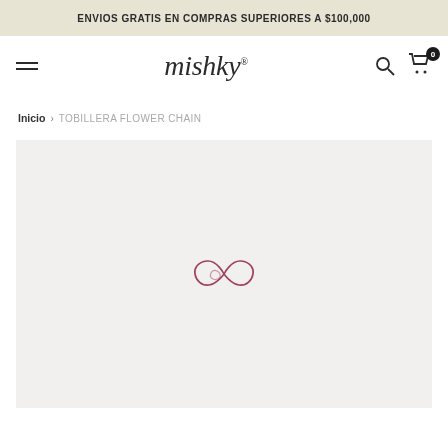ENVIOS GRATIS EN COMPRAS SUPERIORES A $100,000
[Figure (screenshot): Mishky e-commerce website navigation bar with hamburger menu icon on the left, Mishky logo in the center, and search and cart icons on the right. Cart shows badge with 0.]
Inicio > TOBILLERA FLOWER CHAIN
[Figure (photo): Product image area with light gray/beige background showing a loading spinner in the shape of an infinity loop outline in dark rose/burgundy color, indicating the product image is loading.]